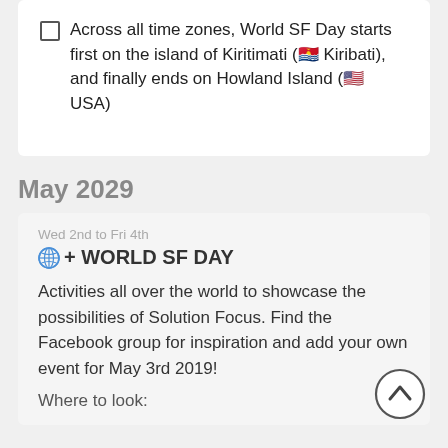Across all time zones, World SF Day starts first on the island of Kiritimati (🇰🇮 Kiribati), and finally ends on Howland Island (🇺🇸 USA)
May 2029
Wed 2nd to Fri 4th
🌐 + WORLD SF DAY
Activities all over the world to showcase the possibilities of Solution Focus. Find the Facebook group for inspiration and add your own event for May 3rd 2019!
Where to look: